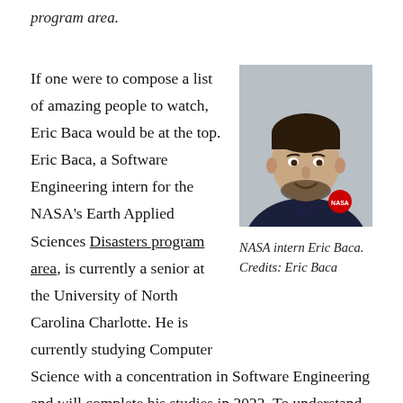program area.
If one were to compose a list of amazing people to watch, Eric Baca would be at the top. Eric Baca, a Software Engineering intern for the NASA's Earth Applied Sciences Disasters program area, is currently a senior at the University of North Carolina Charlotte. He is currently studying Computer Science with a concentration in Software Engineering and will complete his studies in 2022. To understand where this LEGO lover, Galaxy Quest
[Figure (photo): Headshot photo of NASA intern Eric Baca wearing a dark navy NASA polo shirt, smiling, against a gray background.]
NASA intern Eric Baca. Credits: Eric Baca